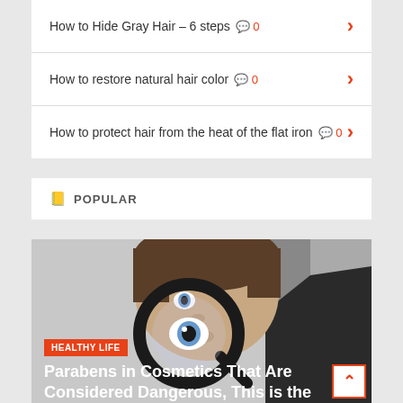How to Hide Gray Hair – 6 steps 0
How to restore natural hair color 0
How to protect hair from the heat of the flat iron 0
POPULAR
[Figure (photo): Man looking through a magnifying glass with a hair product bottle, with overlay text 'Parabens in Cosmetics That Are Considered Dangerous, This is the']
HEALTHY LIFE
Parabens in Cosmetics That Are Considered Dangerous, This is the